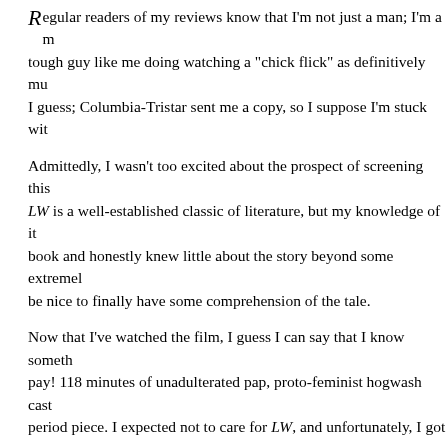Regular readers of my reviews know that I'm not just a man; I'm a tough guy like me doing watching a "chick flick" as definitively must I guess; Columbia-Tristar sent me a copy, so I suppose I'm stuck wit
Admittedly, I wasn't too excited about the prospect of screening this LW is a well-established classic of literature, but my knowledge of it book and honestly knew little about the story beyond some extremel be nice to finally have some comprehension of the tale.
Now that I've watched the film, I guess I can say that I know someth pay! 118 minutes of unadulterated pap, proto-feminist hogwash cast period piece. I expected not to care for LW, and unfortunately, I got
Since I never read the book, I have no idea how closely this film hew appropriate title for this movie might be Little Woman. Yes, the Marc daughters and the annoying-titled matriarch "Marmee", but daughter the focal point of the film, and for fairly obvious reasons; Jo appears bunch, and definitely would be the one who the story's fans - the vas are female English majors who spend most of their time decrying the - could most readily identify. Jo's sisters - who are all much more co under the rug so we can focus on Jo's ever-so-modern boldness.
My disdain for this claptrap runs deep. No, it's not as bad as openly r Tomatoes - possibly the worst movie ever made - but I genuinely dis "empowers" women at the expense of men. Or something like that. R badly on the characters of this film...